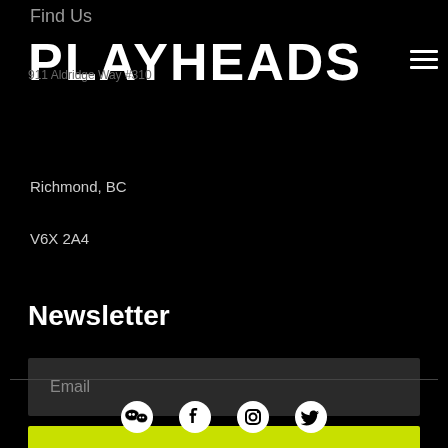Find Us
[Figure (logo): PLAYHEADS logo in large bold white text on black background, with a hamburger menu icon to the right]
911 Aldridge Way #310
Richmond, BC
V6X 2A4
Newsletter
Email
Send
[Figure (infographic): Social media icons: WeChat, Facebook, Instagram, Twitter in white on black background]